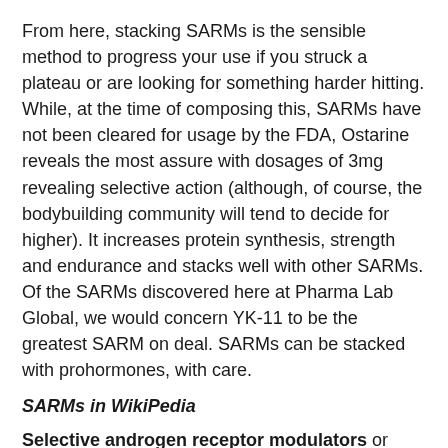From here, stacking SARMs is the sensible method to progress your use if you struck a plateau or are looking for something harder hitting. While, at the time of composing this, SARMs have not been cleared for usage by the FDA, Ostarine reveals the most assure with dosages of 3mg revealing selective action (although, of course, the bodybuilding community will tend to decide for higher). It increases protein synthesis, strength and endurance and stacks well with other SARMs. Of the SARMs discovered here at Pharma Lab Global, we would concern YK-11 to be the greatest SARM on deal. SARMs can be stacked with prohormones, with care.
SARMs in WikiPedia
Selective androgen receptor modulators or SARMs are a novel class of androgen receptor ligands. They are intended to have the same kind of effects as androgenic drugs but be much more selective in their action,